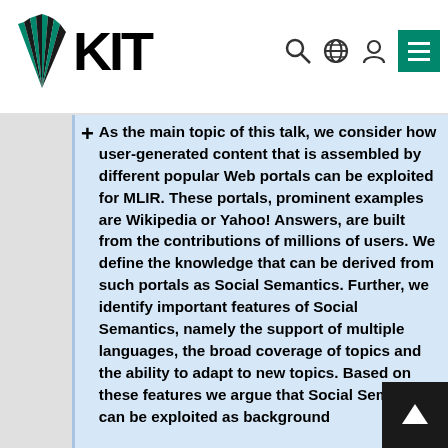KIT
As the main topic of this talk, we consider how user-generated content that is assembled by different popular Web portals can be exploited for MLIR. These portals, prominent examples are Wikipedia or Yahoo! Answers, are built from the contributions of millions of users. We define the knowledge that can be derived from such portals as Social Semantics. Further, we identify important features of Social Semantics, namely the support of multiple languages, the broad coverage of topics and the ability to adapt to new topics. Based on these features we argue that Social Semantics can be exploited as background